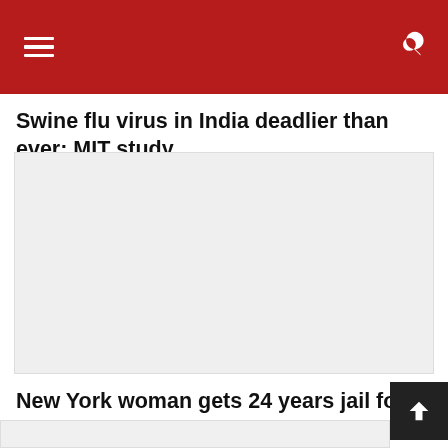Swine flu virus in India deadlier than ever: MIT study
[Figure (photo): Large image placeholder (light gray background) associated with swine flu article]
New York woman gets 24 years jail for bias killing of Hindu
[Figure (photo): Partial image strip at bottom of page]